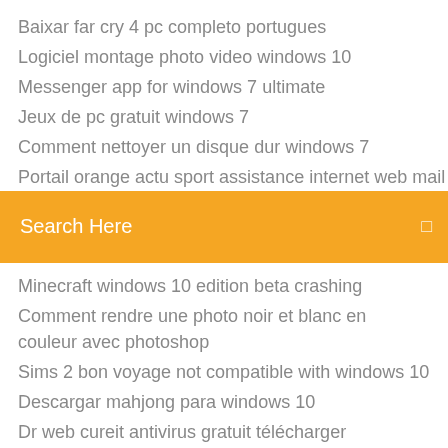Baixar far cry 4 pc completo portugues
Logiciel montage photo video windows 10
Messenger app for windows 7 ultimate
Jeux de pc gratuit windows 7
Comment nettoyer un disque dur windows 7
Portail orange actu sport assistance internet web mail arc
[Figure (other): Orange search bar with text 'Search Here' and a small icon on the right]
Minecraft windows 10 edition beta crashing
Comment rendre une photo noir et blanc en couleur avec photoshop
Sims 2 bon voyage not compatible with windows 10
Descargar mahjong para windows 10
Dr web cureit antivirus gratuit télécharger
Envoi de gros fichiers avec free.fr
Comment installer imprimante pdf gratuit
Pokemon lets go sur android
Suivi des vols en direct air algerie